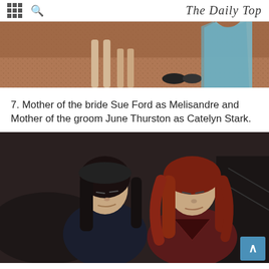The Daily Top
[Figure (photo): Partial photo showing dog legs and a person in a blue dress on a gravel/brick ground]
7. Mother of the bride Sue Ford as Melisandre and Mother of the groom June Thurston as Catelyn Stark.
[Figure (photo): Two women in Game of Thrones costumes: one with black hair in dark clothing (Catelyn Stark), one with red hair in dark red clothing (Melisandre), posed seriously indoors]